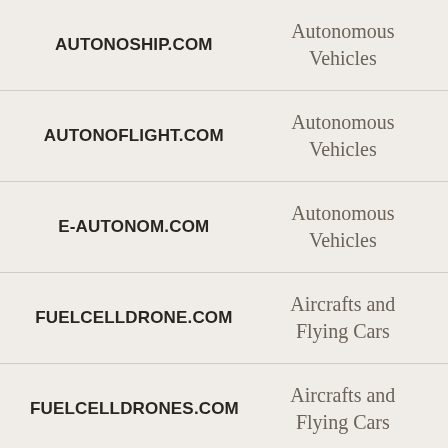| Domain | Category |
| --- | --- |
| AUTONOSHIP.COM | Autonomous Vehicles |
| AUTONOFLIGHT.COM | Autonomous Vehicles |
| E-AUTONOM.COM | Autonomous Vehicles |
| FUELCELLDRONE.COM | Aircrafts and Flying Cars |
| FUELCELLDRONES.COM | Aircrafts and Flying Cars |
| FCDRONES.COM | Aircrafts and Flying Cars |
| (partial) | Aircrafts and... |